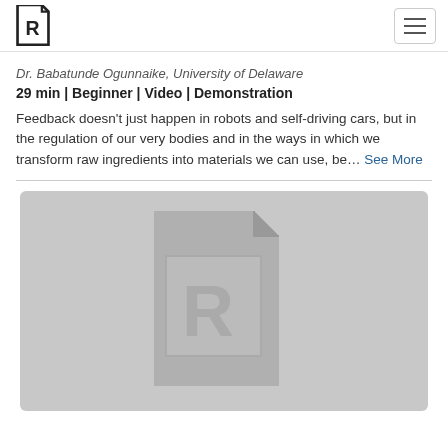R logo and hamburger menu
Dr. Babatunde Ogunnaike, University of Delaware
29 min | Beginner | Video | Demonstration
Feedback doesn't just happen in robots and self-driving cars, but in the regulation of our very bodies and in the ways in which we transform raw ingredients into materials we can use, be… See More
[Figure (screenshot): Gray video thumbnail placeholder with a large Rstudio/R logo watermark centered on a light gray background]